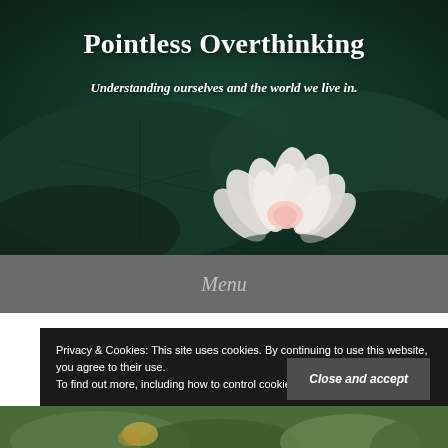[Figure (photo): Hero image of a white lotus flower resting on large dark green lily pads, with a dark teal/green background]
Pointless Overthinking
Understanding ourselves and the world we live in.
Menu
Privacy & Cookies: This site uses cookies. By continuing to use this website, you agree to their use.
To find out more, including how to control cookies, see here: Cookie Policy
Close and accept
[Figure (photo): Partial bottom photo showing green nature/outdoor scene]